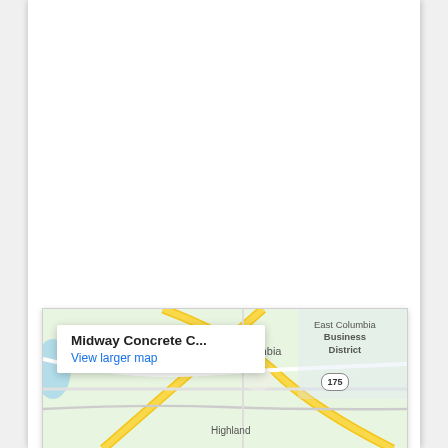[Figure (map): Google Maps embedded map showing Midway Concrete C... location near East Columbia Business District and Columbia, with a map popup/overlay showing the business name and a 'View larger map' link. Roads shown include route 175. Labels visible: IN CENTER, Columbia, East Columbia Business District, Highland.]